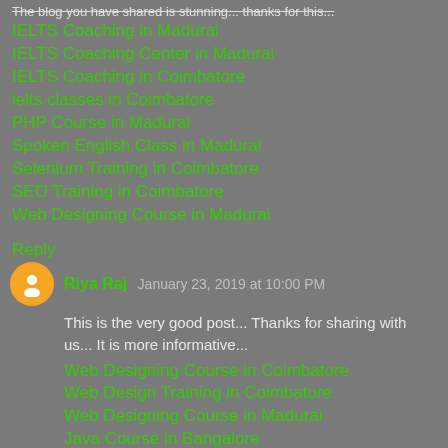The blog you have shared is stunning... thanks for this...
IELTS Coaching in Madurai
IELTS Coaching Center in Madurai
IELTS Coaching in Coimbatore
ielts classes in Coimbatore
PHP Course in Madurai
Spoken English Class in Madurai
Selenium Training in Coimbatore
SEO Training in Coimbatore
Web Designing Course in Madurai
Reply
Riya Raj  January 23, 2019 at 10:00 PM
This is the very good post... Thanks for sharing with us... It is more informative...
Web Designing Course in Coimbatore
Web Design Training in Coimbatore
Web Designing Course in Madurai
Java Course in Bangalore
Devops Training in Bangalore